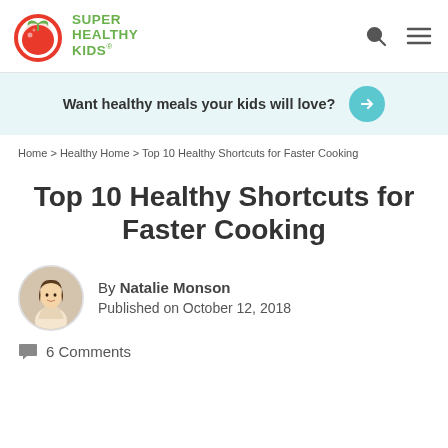Super Healthy Kids — Navigation bar with logo, search, and menu icons
Want healthy meals your kids will love? →
Home › Healthy Home › Top 10 Healthy Shortcuts for Faster Cooking
Top 10 Healthy Shortcuts for Faster Cooking
By Natalie Monson
Published on October 12, 2018
6 Comments